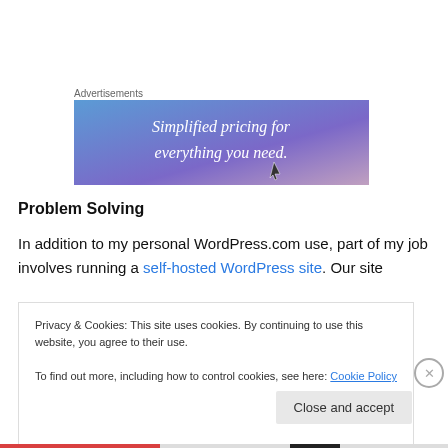Advertisements
[Figure (illustration): Advertisement banner with gradient blue-purple background and white italic text: 'Simplified pricing for everything you need.']
Problem Solving
In addition to my personal WordPress.com use, part of my job involves running a self-hosted WordPress site. Our site
Privacy & Cookies: This site uses cookies. By continuing to use this website, you agree to their use.
To find out more, including how to control cookies, see here: Cookie Policy
Close and accept